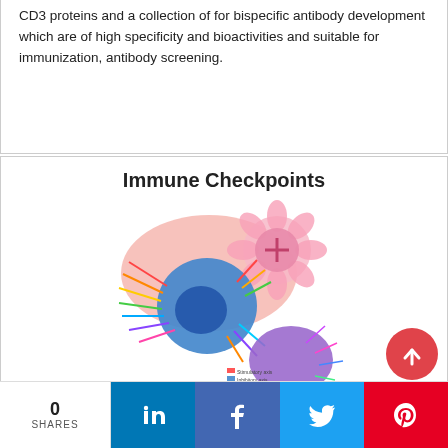CD3 proteins and a collection of for bispecific antibody development which are of high specificity and bioactivities and suitable for immunization, antibody screening.
Immune Checkpoints
[Figure (illustration): Illustration of immune checkpoint biology showing T cell, tumor cell, and immune cell interactions with various receptor-ligand pairs depicted as colored spikes and molecules. Central blue T cell with surrounding cells in pink/red and purple.]
A series of immune checkpoints including classic co-inhibitory and co-stimulatory receptors. The comprehensive catalog contains 100+ targets with various species and tags, and the high-quality proteins are in good batch-to-batch consistency.
Targets for ADCs